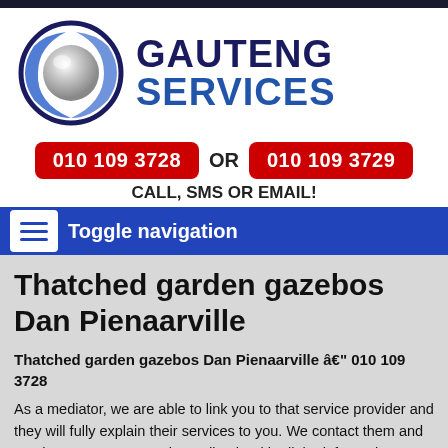[Figure (logo): Gauteng Services logo: circular abstract globe design with blue swooshes on left, company name GAUTENG SERVICES in dark navy and blue bold text on right]
010 109 3728 OR 010 109 3729
CALL, SMS OR EMAIL!
Toggle navigation
Thatched garden gazebos Dan Pienaarville
Thatched garden gazebos Dan Pienaarville – 010 109 3728
As a mediator, we are able to link you to that service provider and they will fully explain their services to you. We contact them and get them to contact you immediately with all the information you need.
We are currently one of the best {KEYWORD companies servicing the